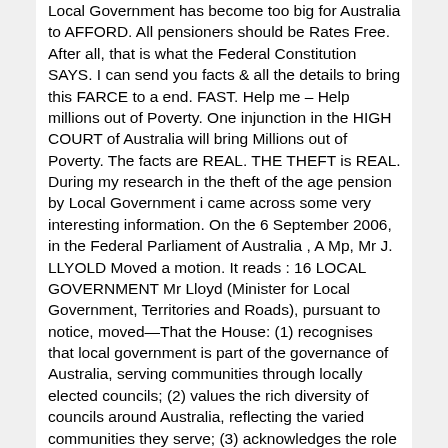Local Government has become too big for Australia to AFFORD. All pensioners should be Rates Free. After all, that is what the Federal Constitution SAYS. I can send you facts & all the details to bring this FARCE to a end. FAST. Help me – Help millions out of Poverty. One injunction in the HIGH COURT of Australia will bring Millions out of Poverty. The facts are REAL. THE THEFT is REAL. During my research in the theft of the age pension by Local Government i came across some very interesting information. On the 6 September 2006, in the Federal Parliament of Australia , A Mp, Mr J. LLYOLD Moved a motion. It reads : 16 LOCAL GOVERNMENT Mr Lloyd (Minister for Local Government, Territories and Roads), pursuant to notice, moved—That the House: (1) recognises that local government is part of the governance of Australia, serving communities through locally elected councils; (2) values the rich diversity of councils around Australia, reflecting the varied communities they serve; (3) acknowledges the role of local government in governance, advocacy, the provision of infrastructure, service delivery, planning, community development and regulation; (4)